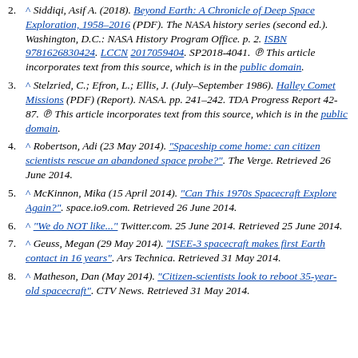2. ^ Siddiqi, Asif A. (2018). Beyond Earth: A Chronicle of Deep Space Exploration, 1958–2016 (PDF). The NASA history series (second ed.). Washington, D.C.: NASA History Program Office. p. 2. ISBN 9781626830424. LCCN 2017059404. SP2018-4041. © This article incorporates text from this source, which is in the public domain.
3. ^ Stelzried, C.; Efron, L.; Ellis, J. (July–September 1986). Halley Comet Missions (PDF) (Report). NASA. pp. 241–242. TDA Progress Report 42-87. © This article incorporates text from this source, which is in the public domain.
4. ^ Robertson, Adi (23 May 2014). "Spaceship come home: can citizen scientists rescue an abandoned space probe?". The Verge. Retrieved 26 June 2014.
5. ^ McKinnon, Mika (15 April 2014). "Can This 1970s Spacecraft Explore Again?". space.io9.com. Retrieved 26 June 2014.
6. ^ "We do NOT like..." Twitter.com. 25 June 2014. Retrieved 25 June 2014.
7. ^ Geuss, Megan (29 May 2014). "ISEE-3 spacecraft makes first Earth contact in 16 years". Ars Technica. Retrieved 31 May 2014.
8. ^ Matheson, Dan (May 2014). "Citizen-scientists look to reboot 35-year-old spacecraft". CTV News. Retrieved 31 May 2014.